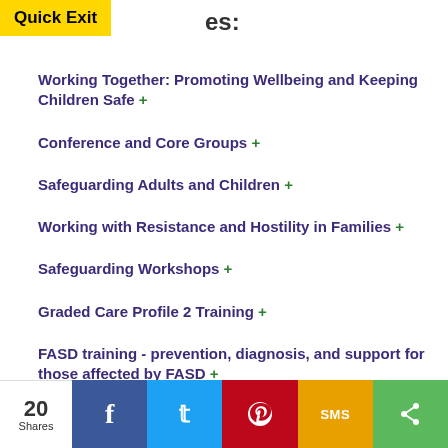Quick Exit
es:
Working Together: Promoting Wellbeing and Keeping Children Safe +
Conference and Core Groups +
Safeguarding Adults and Children +
Working with Resistance and Hostility in Families +
Safeguarding Workshops +
Graded Care Profile 2 Training +
FASD training - prevention, diagnosis, and support for those affected by FASD +
20 Shares | Facebook | Twitter | Pinterest | SMS | Share